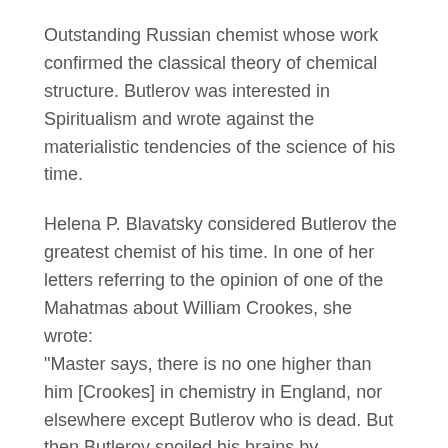Outstanding Russian chemist whose work confirmed the classical theory of chemical structure. Butlerov was interested in Spiritualism and wrote against the materialistic tendencies of the science of his time.
Helena P. Blavatsky considered Butlerov the greatest chemist of his time. In one of her letters referring to the opinion of one of the Mahatmas about William Crookes, she wrote: "Master says, there is no one higher than him [Crookes] in chemistry in England, nor elsewhere except Butlerov who is dead. But then Butlerov spoiled his brains by Spiritualism" (Letters of H. P. Blavatsky to A. P. Sinnett, p. 226).
In The Secret Doctrine, H. P. Blavatsky quoted extensively from Butlerov's work in illustrating the infinite divisibility and elasticity of atoms, which if true reduces matter into